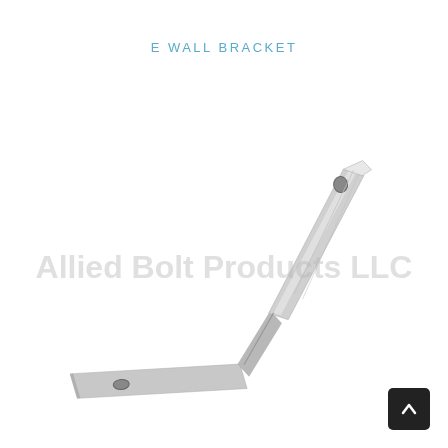E WALL BRACKET
[Figure (photo): A galvanized steel E wall bracket shown at an angle. The bracket is L-shaped with a twist, silver/zinc-plated metal, with two visible bolt holes — one on the vertical arm near the top-right, and one on the horizontal arm at the lower-left. A watermark reading 'Allied Bolt Products LLC' is overlaid across the image.]